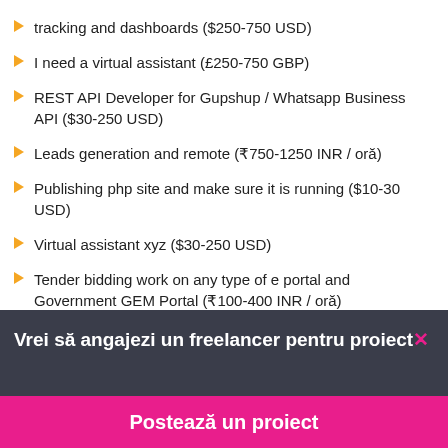tracking and dashboards ($250-750 USD)
I need a virtual assistant (£250-750 GBP)
REST API Developer for Gupshup / Whatsapp Business API ($30-250 USD)
Leads generation and remote (₹750-1250 INR / oră)
Publishing php site and make sure it is running ($10-30 USD)
Virtual assistant xyz ($30-250 USD)
Tender bidding work on any type of e portal and Government GEM Portal (₹100-400 INR / oră)
Vrei să angajezi un freelancer pentru proiect×
Postează un proiect